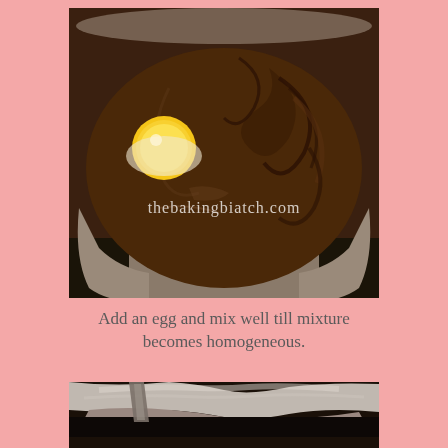[Figure (photo): Top-down view of a mixing bowl containing chocolate mixture with an unbroken egg yolk on the left side and a whisk/spoon on the right side. Watermark text 'thebakingbiatch.com' visible in the center.]
Add an egg and mix well till mixture becomes homogeneous.
[Figure (photo): Close-up side view of a mixing bowl with chocolate mixture being mixed, showing the bowl rim and spoon/utensil in action.]